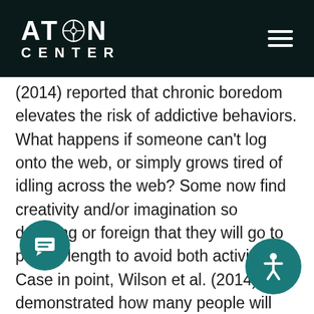ATON CENTER
(2014) reported that chronic boredom elevates the risk of addictive behaviors. What happens if someone can't log onto the web, or simply grows tired of idling across the web? Some now find creativity and/or imagination so daunting or foreign that they will go to painful length to avoid both activities. Case in point, Wilson et al. (2014) demonstrated how many people will quickly resort of self-abuse to escape boredom, with nearly half of the study participants (43%) self-delivering electric shocks in the absence of any stimuli from the